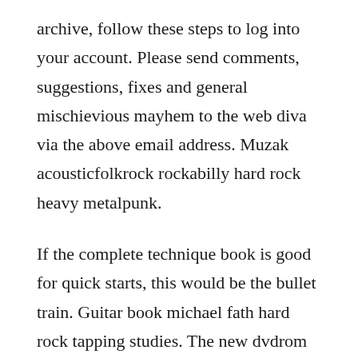archive, follow these steps to log into your account. Please send comments, suggestions, fixes and general mischievious mayhem to the web diva via the above email address. Muzak acousticfolkrock rockabilly hard rock heavy metalpunk.
If the complete technique book is good for quick starts, this would be the bullet train. Guitar book michael fath hard rock tapping studies. The new dvdrom features teacher and rock guitar master jared meeker, whos entertaining and unique style makes learning